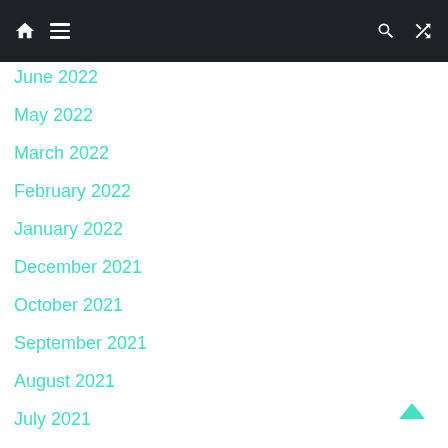Navigation bar with home, menu, search, and shuffle icons
June 2022
May 2022
March 2022
February 2022
January 2022
December 2021
October 2021
September 2021
August 2021
July 2021
June 2021
May 2021
April 2021